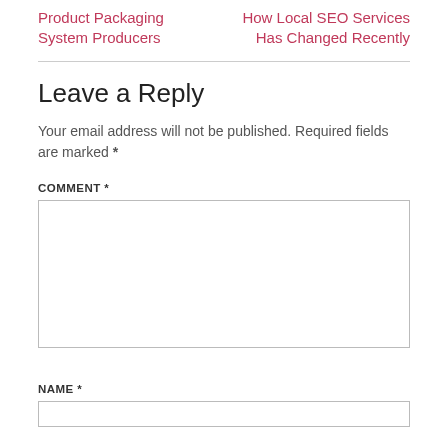Product Packaging System Producers
How Local SEO Services Has Changed Recently
Leave a Reply
Your email address will not be published. Required fields are marked *
COMMENT *
NAME *